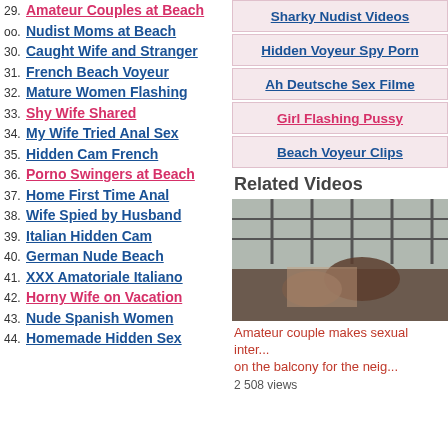29. Amateur Couples at Beach
oo. Nudist Moms at Beach
30. Caught Wife and Stranger
31. French Beach Voyeur
32. Mature Women Flashing
33. Shy Wife Shared
34. My Wife Tried Anal Sex
35. Hidden Cam French
36. Porno Swingers at Beach
37. Home First Time Anal
38. Wife Spied by Husband
39. Italian Hidden Cam
40. German Nude Beach
41. XXX Amatoriale Italiano
42. Horny Wife on Vacation
43. Nude Spanish Women
44. Homemade Hidden Sex
Sharky Nudist Videos
Hidden Voyeur Spy Porn
Ah Deutsche Sex Filme
Girl Flashing Pussy
Beach Voyeur Clips
Related Videos
[Figure (photo): Video thumbnail showing couple on balcony]
Amateur couple makes sexual inter... on the balcony for the neig...
2 508 views